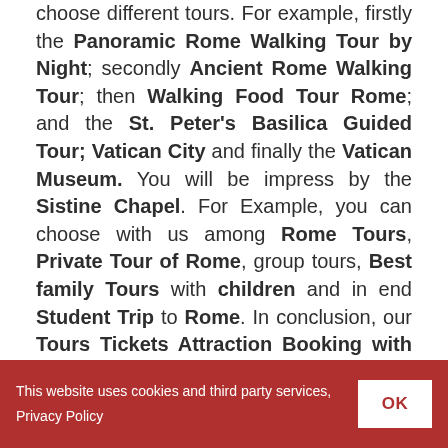choose different tours. For example, firstly the Panoramic Rome Walking Tour by Night; secondly Ancient Rome Walking Tour; then Walking Food Tour Rome; and the St. Peter's Basilica Guided Tour; Vatican City and finally the Vatican Museum. You will be impress by the Sistine Chapel. For Example, you can choose with us among Rome Tours, Private Tour of Rome, group tours, Best family Tours with children and in end Student Trip to Rome. In conclusion, our Tours Tickets Attraction Booking with Virtual Reality are designed to make happy your every request. Attention to detail and customer care are our keywords.

So, choose a Tours Tickets Attraction Booking with
This website uses cookies and third party services, Privacy Policy OK